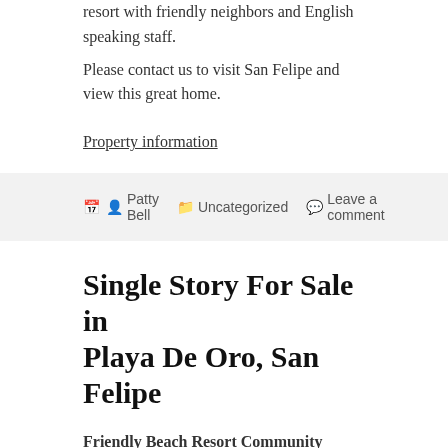resort with friendly neighbors and English speaking staff.
Please contact us to visit San Felipe and view this great home.
Property information
Patty Bell  Uncategorized  Leave a comment
Single Story For Sale in Playa De Oro, San Felipe
Friendly Beach Resort Community
single story – FOR SALE  189000 USD . Fantastic Price for Resort Home